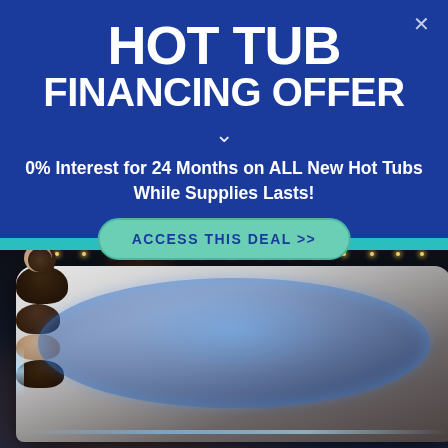HOT TUB FINANCING OFFER
0% Interest for 24 Months on ALL New Hot Tubs While Supplies Lasts!
ACCESS THIS DEAL >>
[Figure (photo): Four people relaxing in an illuminated outdoor hot tub at night, with a fireplace and patio lights in the background]